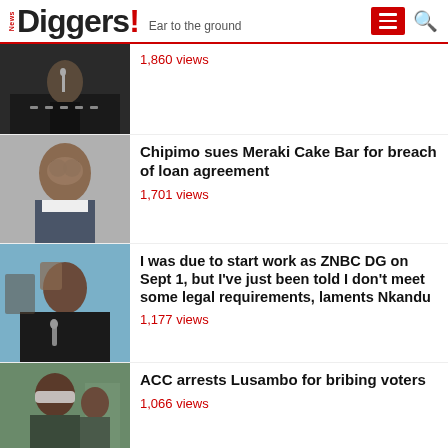News Diggers! Ear to the ground
[Figure (photo): Press conference scene with people at microphones]
1,860 views
[Figure (photo): Man with glasses smiling, wearing suit]
Chipimo sues Meraki Cake Bar for breach of loan agreement
1,701 views
[Figure (photo): Woman speaking into microphone]
I was due to start work as ZNBC DG on Sept 1, but I've just been told I don't meet some legal requirements, laments Nkandu
1,177 views
[Figure (photo): Man wearing mask outdoors]
ACC arrests Lusambo for bribing voters
1,066 views
[Figure (photo): Motorbike scene partial]
Our motorbikes bid was way cheaper than